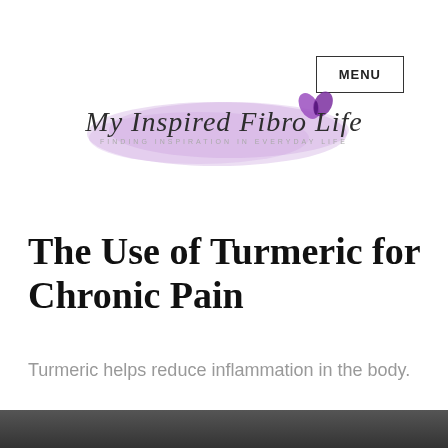MENU
[Figure (logo): My Inspired Fibro Life blog logo with purple watercolor brush stroke background and butterfly, subtitle: FINDING INSPIRATION IN EVERYDAY LIFE]
The Use of Turmeric for Chronic Pain
Turmeric helps reduce inflammation in the body.
[Figure (photo): Dark background photo at bottom of page, partially visible]